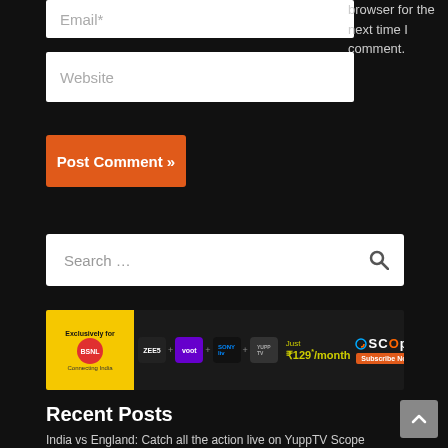[Figure (screenshot): Email input field with placeholder text 'Email*' on dark background]
browser for the next time I comment.
[Figure (screenshot): Website input field with placeholder text 'Website' on dark background]
[Figure (screenshot): Orange 'Post Comment »' button]
[Figure (screenshot): Search bar with placeholder 'Search ...' and search icon on dark background]
[Figure (screenshot): Advertisement banner for YuppTV Scope BSNL subscription: Exclusively for BSNL, featuring Zee5, Voot, Sony LIV, YuppTV channels. Just ₹129/month. Subscribe Now.]
Recent Posts
India vs England: Catch all the action live on YuppTV Scope